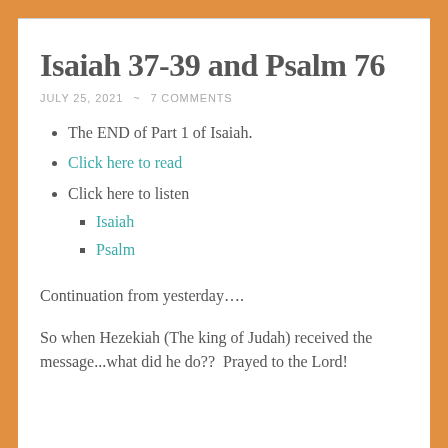Isaiah 37-39 and Psalm 76
JULY 25, 2021 ~ 7 COMMENTS
The END of Part 1 of Isaiah.
Click here to read
Click here to listen
Isaiah
Psalm
Continuation from yesterday….
So when Hezekiah (The king of Judah) received the message...what did he do??  Prayed to the Lord!